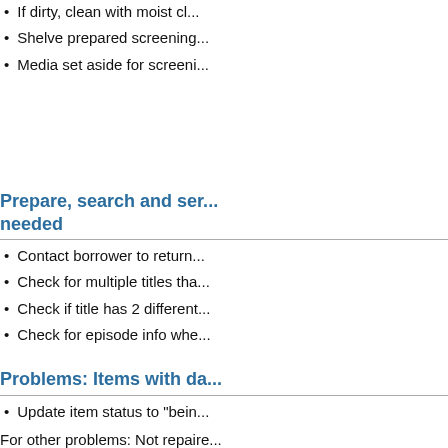If dirty, clean with moist cl...
Shelve prepared screening...
Media set aside for screeni...
Prepare, search and ser... needed
Contact borrower to return...
Check for multiple titles tha...
Check if title has 2 different...
Check for episode info whe...
Problems: Items with da...
Update item status to "bein...
For other problems: Not repira...
Email Reserve Office and a...
Email Film Screening distrib... gaps in the screening sche...